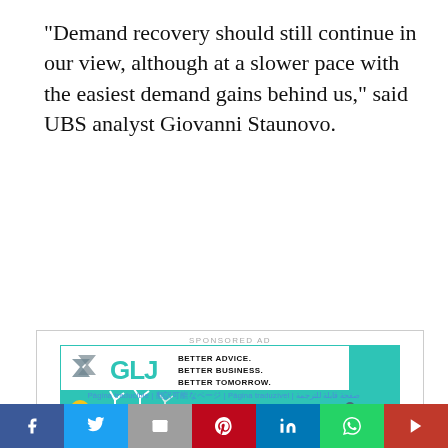“Demand recovery should still continue in our view, although at a slower pace with the easiest demand gains behind us,” said UBS analyst Giovanni Staunovo.
[Figure (infographic): GLJ sponsored advertisement banner with teal background showing wind turbines, solar panels, oil pump jacks, and text: BETTER ADVICE. BETTER BUSINESS. BETTER TOMORROW.]
Página traducible | 翻訳可能なページ | Página traduzível | صفحة قابلة للترجمة